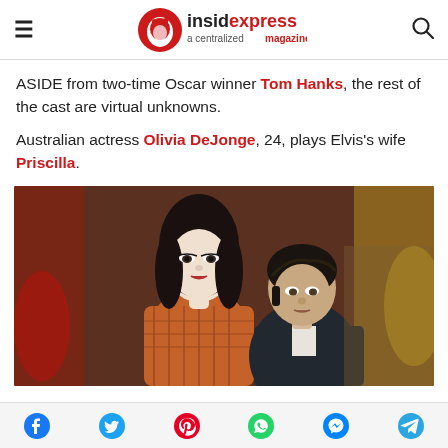insidexpress a centralized magazine
ASIDE from two-time Oscar winner Tom Hanks, the rest of the cast are virtual unknowns.
Australian actress Olivia DeJonge, 24, plays Elvis's wife Priscilla.
[Figure (photo): Movie still showing a pale young woman with dark hair and heavy eye makeup (Olivia DeJonge as Priscilla) standing behind a young dark-haired man (Elvis) in a crowd scene with warm brownish background.]
Social share icons: Facebook, Twitter, Pinterest, WhatsApp, Messenger, Telegram